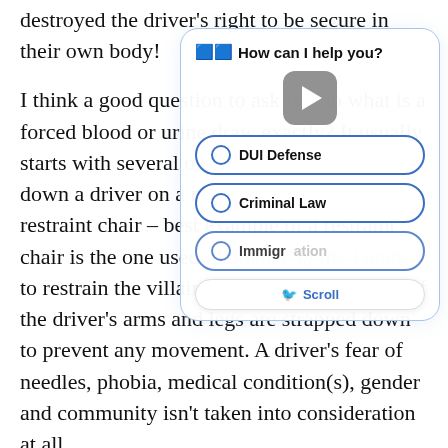destroyed the driver's right to be secure in their own body!

I think a good question to ask is – so what is a forced blood or urine draw exactly? It usually starts with several officers forcibly holding down a driver on a medical gurney or restraint chair – best example of a restraint chair is the one used in Silence of the Lambs to restrain the villain Hannibal Lecter. Both of the driver's arms and legs are strapped down to prevent any movement. A driver's fear of needles, phobia, medical condition(s), gender and community isn't taken into consideration at all. Remember, this is a FORCED procedure. The driver
[Figure (screenshot): A chatbot UI overlay panel with header 'How can I help you?', a video play button, and three radio button options: DUI Defense, Criminal Law, Immigration. A Scroll button is visible at the bottom.]